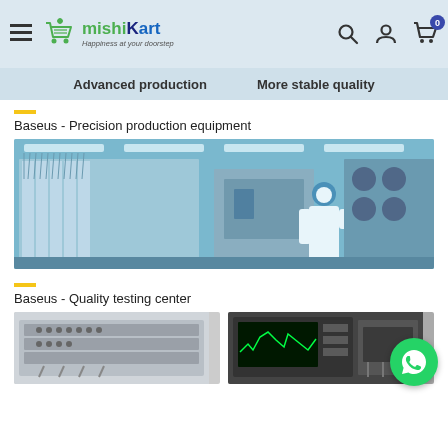MishiKart - Happiness at your doorstep
Advanced production   More stable quality
Baseus - Precision production equipment
[Figure (photo): Factory worker in white cleanroom suit and blue hard hat operating precision production equipment in a modern manufacturing facility]
Baseus - Quality testing center
[Figure (photo): Two photos of quality testing equipment: left shows a rack-mounted testing unit with multiple ports, right shows an oscilloscope/monitor displaying waveforms]
[Figure (other): WhatsApp contact button]